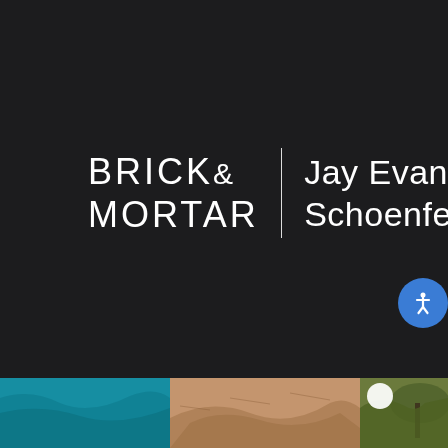[Figure (logo): Brick & Mortar real estate logo with agent name Jay Evan Schoenfeldt on dark background. Logo has 'BRICK &' on first line and 'MORTAR' on second line, separated by a vertical white divider from the agent name 'Jay Evan Schoenfeldt'.]
[Figure (photo): Three partial property/landscape photos visible at bottom strip: teal water/pool on left, sandy desert or dune in center, and tropical green vegetation on right with a white circle element.]